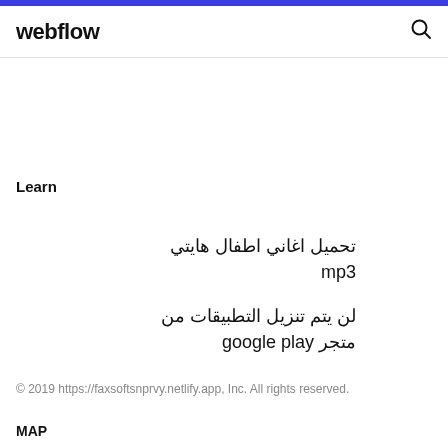webflow
Learn
تحميل اغاني اطفال هايتي mp3
لن يتم تنزيل التطبيقات من متجر google play
© 2019 https://faxsoftsnprvy.netlify.app, Inc. All rights reserved.
MAP